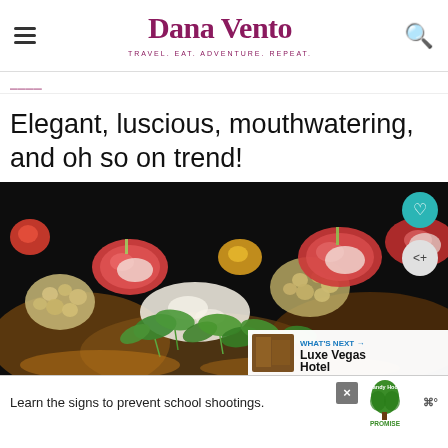Dana Vento — TRAVEL. EAT. ADVENTURE. REPEAT.
[partial cropped link text]
Elegant, luscious, mouthwatering, and oh so on trend!
[Figure (photo): Close-up food photo: a salad dish with radishes, microgreens/watercress, grains or cauliflower, and vegetables on a dark background. Social buttons (heart and share) overlay top right. 'WHAT'S NEXT → Luxe Vegas Hotel' overlay bottom right.]
[Figure (infographic): Advertisement banner: 'Learn the signs to prevent school shootings.' with Sandy Hook Promise logo. Close button X visible.]